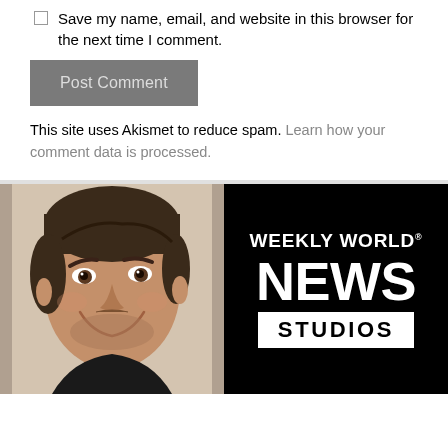Save my name, email, and website in this browser for the next time I comment.
Post Comment
This site uses Akismet to reduce spam. Learn how your comment data is processed.
[Figure (photo): Split image: left half shows a man's face smiling, right half shows the Weekly World News Studios logo on a black background]